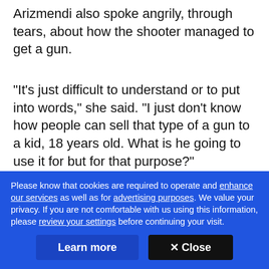Arizmendi also spoke angrily, through tears, about how the shooter managed to get a gun.
"It's just difficult to understand or to put into words," she said. "I just don't know how people can sell that type of a gun to a kid, 18 years old. What is he going to use it for but for that purpose?"
[Figure (photo): Partial photo of a young person visible from the top of the head, sitting in what appears to be a restaurant setting with windows in the background.]
Please know that cookies are required to operate and enhance our services as well as for advertising purposes. We value your privacy. If you are not comfortable with us using this information, please review your settings before continuing your visit.